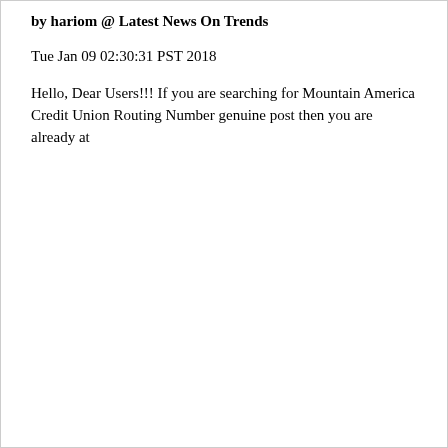by hariom @ Latest News On Trends
Tue Jan 09 02:30:31 PST 2018
Hello, Dear Users!!! If you are searching for Mountain America Credit Union Routing Number genuine post then you are already at